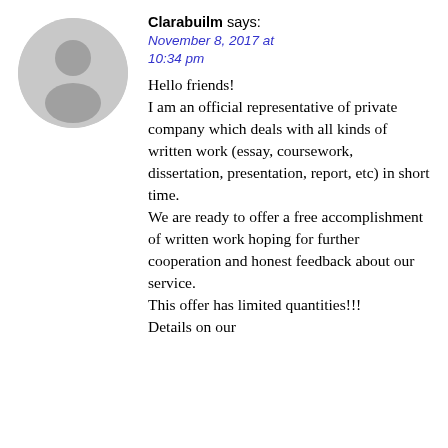[Figure (illustration): Gray circular avatar placeholder with a silhouette of a person (head and shoulders)]
Clarabuilm says:
November 8, 2017 at 10:34 pm
Hello friends! I am an official representative of private company which deals with all kinds of written work (essay, coursework, dissertation, presentation, report, etc) in short time. We are ready to offer a free accomplishment of written work hoping for further cooperation and honest feedback about our service. This offer has limited quantities!!! Details on our